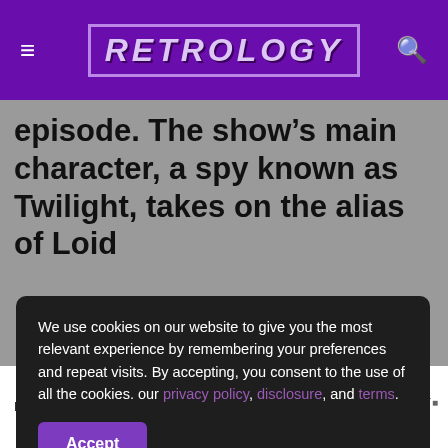RETROLOGY (logo header with menu and search icons)
episode. The show's main character, a spy known as Twilight, takes on the alias of Loid
We use cookies on our website to give you the most relevant experience by remembering your preferences and repeat visits. By accepting, you consent to the use of all the cookies. our privacy policy, disclosure, and terms.
Accept
Learn the signs to prevent school shootings. Sandy Hook Promise